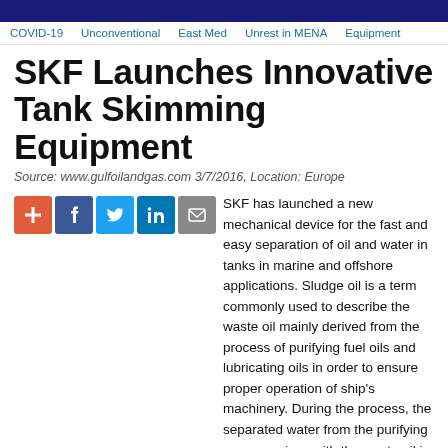Navigation bar
COVID-19 | Unconventional | East Med | Unrest in MENA | Equipment
SKF Launches Innovative Tank Skimming Equipment
Source: www.gulfoilandgas.com 3/7/2016, Location: Europe
[Figure (infographic): Social share buttons: plus, Facebook, Twitter, LinkedIn, Email]
SKF has launched a new mechanical device for the fast and easy separation of oil and water in tanks in marine and offshore applications. Sludge oil is a term commonly used to describe the waste oil mainly derived from the process of purifying fuel oils and lubricating oils in order to ensure proper operation of ship's machinery. During the process, the separated water from the purifying process mixes with the waste oil in the sludge tank.
The SKF Turbulo Sludge Buoy has been developed to eliminate